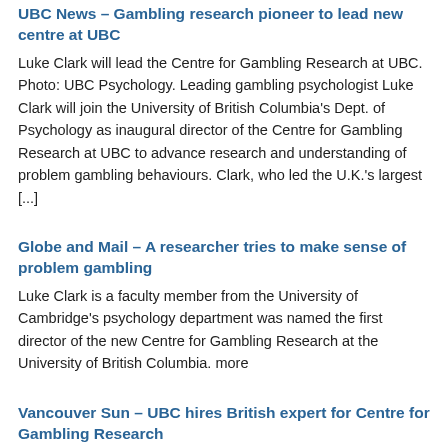UBC News – Gambling research pioneer to lead new centre at UBC
Luke Clark will lead the Centre for Gambling Research at UBC. Photo: UBC Psychology. Leading gambling psychologist Luke Clark will join the University of British Columbia's Dept. of Psychology as inaugural director of the Centre for Gambling Research at UBC to advance research and understanding of problem gambling behaviours. Clark, who led the U.K.'s largest [...]
Globe and Mail – A researcher tries to make sense of problem gambling
Luke Clark is a faculty member from the University of Cambridge's psychology department was named the first director of the new Centre for Gambling Research at the University of British Columbia. more
Vancouver Sun – UBC hires British expert for Centre for Gambling Research
VANCOUVER – Luke Clark was named Tuesday as the inaugural...